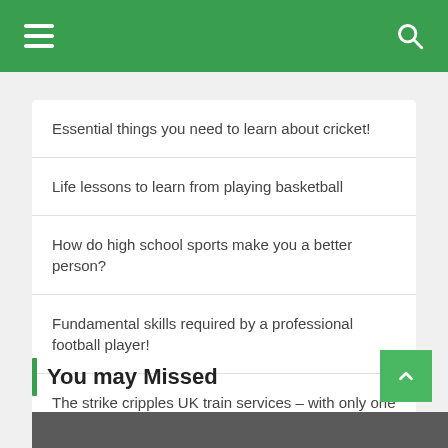Navigation bar with hamburger menu and search icon
Essential things you need to learn about cricket!
Life lessons to learn from playing basketball
How do high school sports make you a better person?
Fundamental skills required by a professional football player!
The strike cripples UK train services – with only one in five trains running
You may Missed
[Figure (photo): Dark placeholder image area at bottom of page]